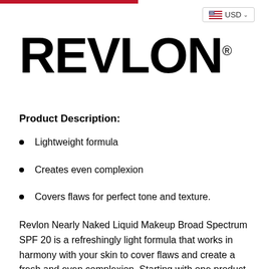[Figure (screenshot): USD currency selector button with US flag icon and dropdown chevron]
[Figure (logo): REVLON® brand logo in large bold black text]
Product Description:
Lightweight formula
Creates even complexion
Covers flaws for perfect tone and texture.
Revlon Nearly Naked Liquid Makeup Broad Spectrum SPF 20 is a refreshingly light formula that works in harmony with your skin to cover flaws and create a fresh and even complexion. Starting with one product